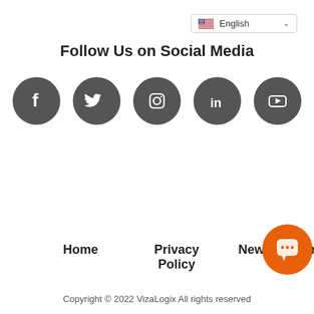[Figure (screenshot): Language selector dropdown showing English with US flag]
Follow Us on Social Media
[Figure (infographic): Row of 5 social media icons: Facebook, Twitter, Instagram, LinkedIn, YouTube — all dark grey circles with white icons]
[Figure (infographic): Orange pill-shaped button labeled 'Schedule a Demo']
Home
Privacy Policy
News
Terms
[Figure (infographic): Orange circular chat/message bubble icon in bottom right]
Copyright © 2022 VizaLogix All rights reserved